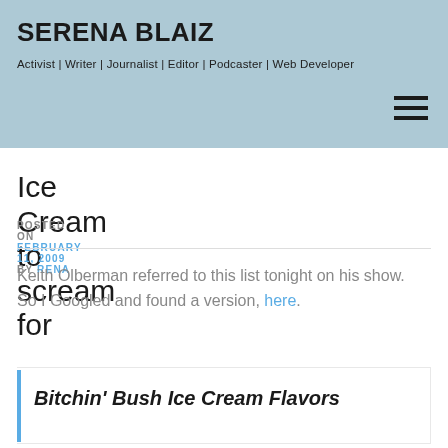SERENA BLAIZ
Activist | Writer | Journalist | Editor | Podcaster | Web Developer
Ice Cream to scream for
POSTED ON FEBRUARY 11, 2009 BY RENA
Keith Olberman referred to this list tonight on his show. So I Googled and found a version, here.
Bitchin' Bush Ice Cream Flavors